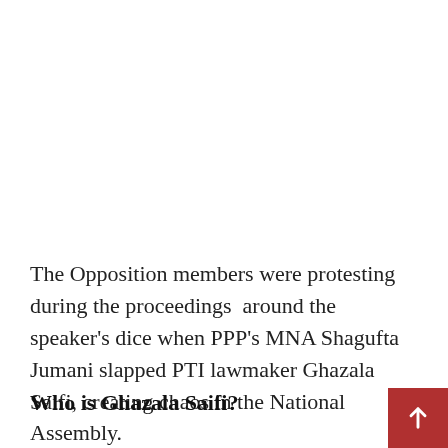The Opposition members were protesting during the proceedings  around the speaker's dice when PPP's MNA Shagufta Jumani slapped PTI lawmaker Ghazala Saifi, creating chaos in the National Assembly.
Who is Ghazala Saifi?